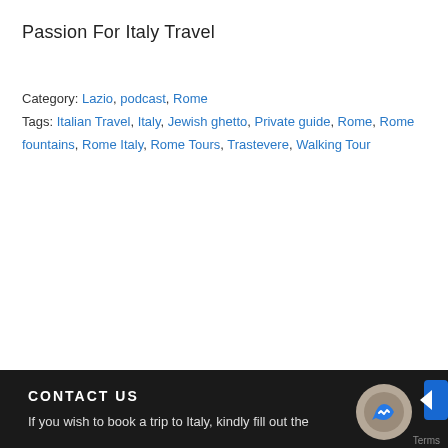Passion For Italy Travel
Category: Lazio, podcast, Rome
Tags: Italian Travel, Italy, Jewish ghetto, Private guide, Rome, Rome fountains, Rome Italy, Rome Tours, Trastevere, Walking Tour
[Figure (infographic): Subscribe to Podcast section with five circular icon buttons: Google Podcasts, Android/CastBox, Email/Overcast, RSS feed, and more options (...)]
CONTACT US
If you wish to book a trip to Italy, kindly fill out the